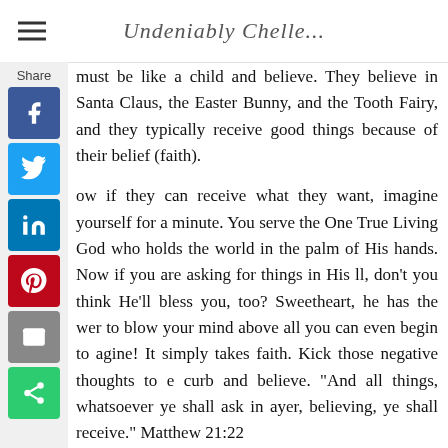Undeniably Chelle...
must be like a child and believe. They believe in Santa Claus, the Easter Bunny, and the Tooth Fairy, and they typically receive good things because of their belief (faith).
Now if they can receive what they want, imagine yourself for a minute. You serve the One True Living God who holds the world in the palm of His hands. Now if you are asking for things in His will, don't you think He'll bless you, too? Sweetheart, he has the power to blow your mind above all you can even begin to imagine! It simply takes faith. Kick those negative thoughts to the curb and believe. "And all things, whatsoever ye shall ask in prayer, believing, ye shall receive." Matthew 21:22
If you're facing a tough obstacle and you're unsure how to overcome it, simply remember that He has already given you the strength to do all things in Him. Philippians 4:13. If you stop thinking about what you cannot do, and focus on what you can do